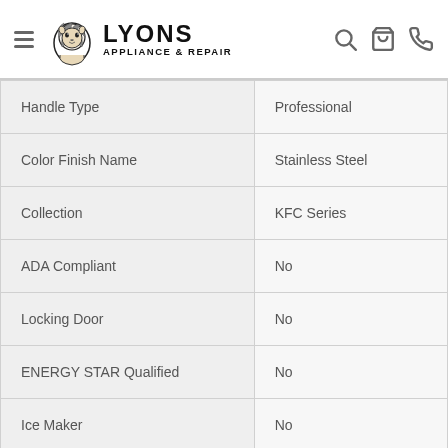LYONS APPLIANCE & REPAIR
|  |  |
| --- | --- |
| Handle Type | Professional |
| Color Finish Name | Stainless Steel |
| Collection | KFC Series |
| ADA Compliant | No |
| Locking Door | No |
| ENERGY STAR Qualified | No |
| Ice Maker | No |